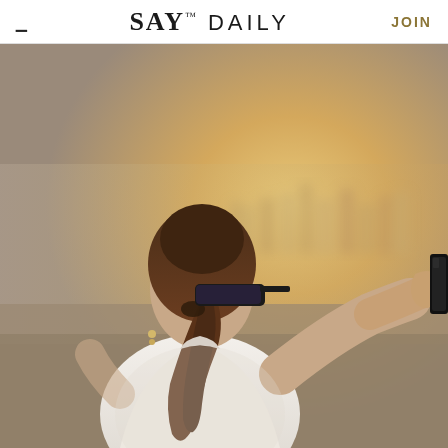≡  SAY™ DAILY  JOIN
[Figure (photo): Woman with brown ponytail hair and black sunglasses, wearing a white top, photographing a city skyline from a rooftop using a smartphone. View is from behind. Warm golden hazy light in background.]